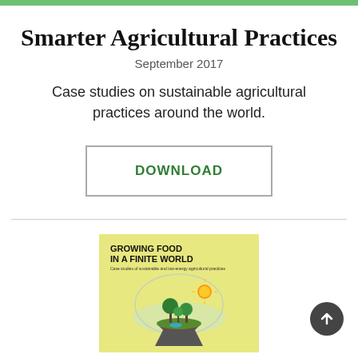Smarter Agricultural Practices
September 2017
Case studies on sustainable agricultural practices around the world.
DOWNLOAD
[Figure (illustration): Book cover for 'Growing Food in a Finite World' with yellow background and illustrated floating island with vegetation and sun]